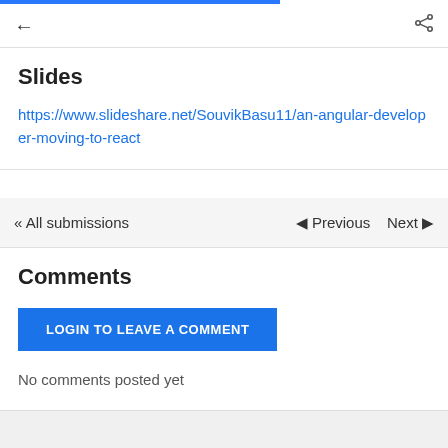← (back) share
Slides
https://www.slideshare.net/SouvikBasu11/an-angular-developer-moving-to-react
« All submissions   ◄ Previous   Next ►
Comments
LOGIN TO LEAVE A COMMENT
No comments posted yet